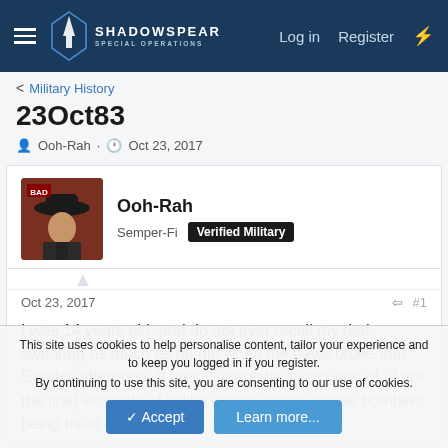ShadowSpear Special Operations — Log in  Register
< Military History
23Oct83
Ooh-Rah · Oct 23, 2017
Ooh-Rah
Semper-Fi  Verified Military
Oct 23, 2017  #1
I was 14 years old, and do not ever recall my dad swearing as much as he did when the news broke that Sunday afternoon. If I recall correctly, it was one of (if not the first) example of militia groups using suicide bombers being used against US –
This site uses cookies to help personalise content, tailor your experience and to keep you logged in if you register.
By continuing to use this site, you are consenting to our use of cookies.
Accept  Learn more...